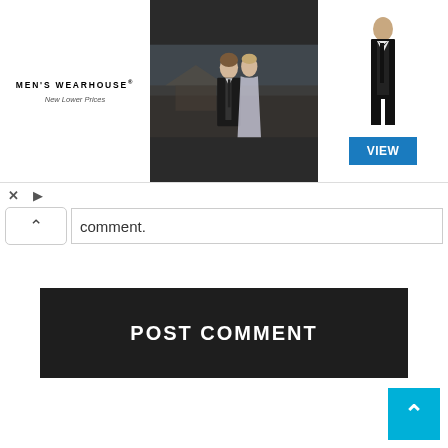[Figure (screenshot): Men's Wearhouse advertisement banner with logo on left, couple in formal wear center, male model in tuxedo and VIEW button on right]
[Figure (screenshot): Ad controls row with X close button and play/arrow button]
comment.
[Figure (screenshot): POST COMMENT dark button]
[Figure (screenshot): Back to top cyan arrow button in bottom-right corner]